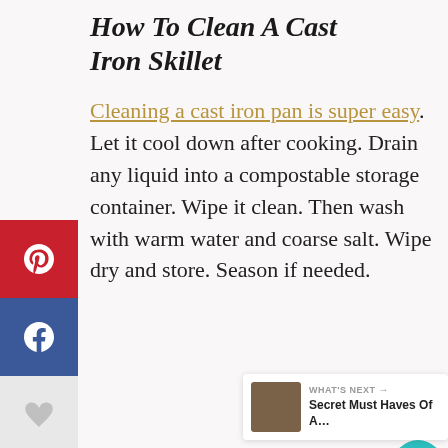How To Clean A Cast Iron Skillet
Cleaning a cast iron pan is super easy. Let it cool down after cooking. Drain any liquid into a compostable storage container. Wipe it clean. Then wash with warm water and coarse salt. Wipe dry and store. Season if needed.
[Figure (infographic): Social media sharing sidebar with Pinterest, Facebook, heart/like, Twitter, and email buttons on the left side]
[Figure (infographic): Right-side action buttons: teal heart circle with count 24, and a share button circle]
[Figure (infographic): What's Next widget with thumbnail and text 'Secret Must Haves Of A...']